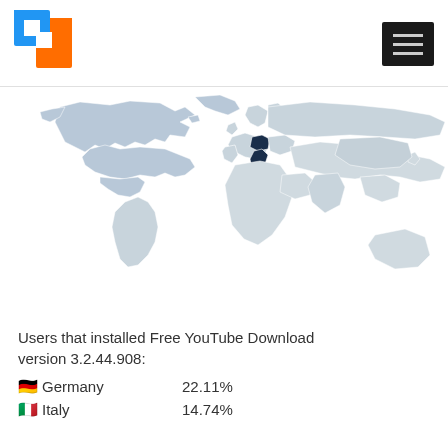[Figure (logo): App logo with blue and orange squares forming a stylized bracket/window icon]
[Figure (map): World map showing user install distribution for Free YouTube Download version 3.2.44.908. North America shown in light gray, Germany and Italy highlighted in dark navy blue.]
Users that installed Free YouTube Download version 3.2.44.908:
Germany   22.11%
Italy   14.74%